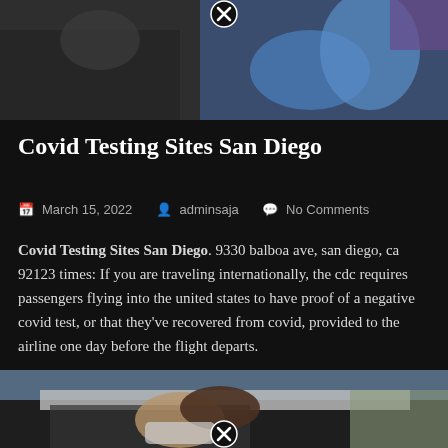[Figure (photo): Top photo showing a COVID testing scene — a person in blue gloves administering a nasal swab test through a car window, with another person visible.]
Covid Testing Sites San Diego
March 15, 2022  adminsaja  No Comments
Covid Testing Sites San Diego. 9330 balboa ave, san diego, ca 92123 times: If you are traveling internationally, the cdc requires passengers flying into the united states to have proof of a negative covid test, or that they've recovered from covid, provided to the airline one day before the flight departs.
[Figure (photo): Bottom photo showing a person sitting in a car, wearing a mask, looking toward the camera, with another person in gloves visible at the car window.]